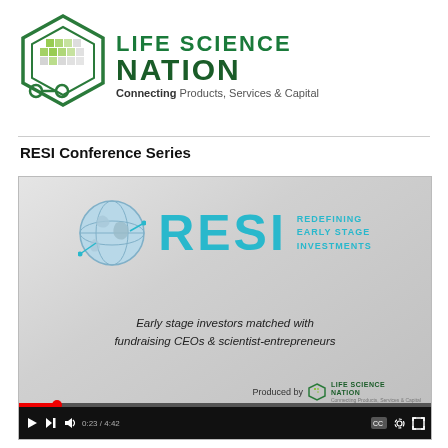[Figure (logo): Life Science Nation logo with hexagonal icon and tagline 'Connecting Products, Services & Capital']
RESI Conference Series
[Figure (screenshot): Video player showing RESI (Redefining Early Stage Investments) promotional video with globe icon, teal RESI text, subtitle 'Early stage investors matched with fundraising CEOs & scientist-entrepreneurs', produced by Life Science Nation. Controls show 0:23 / 4:42.]